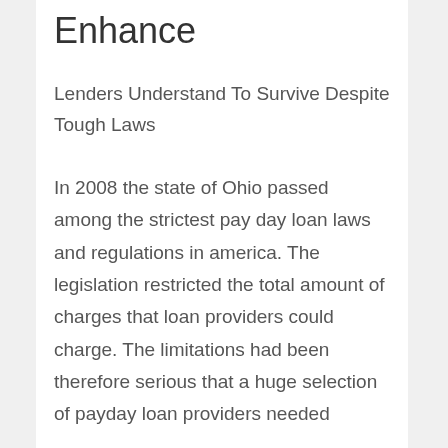Enhance
Lenders Understand To Survive Despite Tough Laws
In 2008 the state of Ohio passed among the strictest pay day loan laws and regulations in america. The legislation restricted the total amount of charges that loan providers could charge. The limitations had been therefore serious that a huge selection of payday loan providers needed